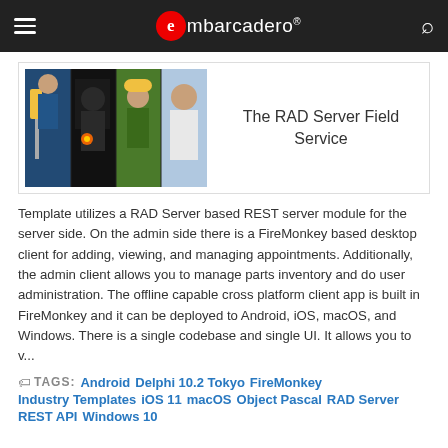embarcadero
[Figure (photo): Collage of field service workers including electrician, welder, construction worker with hard hat, and chef]
The RAD Server Field Service
Template utilizes a RAD Server based REST server module for the server side. On the admin side there is a FireMonkey based desktop client for adding, viewing, and managing appointments. Additionally, the admin client allows you to manage parts inventory and do user administration. The offline capable cross platform client app is built in FireMonkey and it can be deployed to Android, iOS, macOS, and Windows. There is a single codebase and single UI. It allows you to v...
TAGS: Android  Delphi 10.2 Tokyo  FireMonkey  Industry Templates  iOS 11  macOS  Object Pascal  RAD Server  REST API  Windows 10